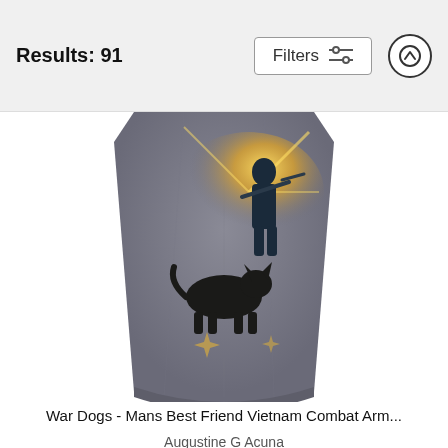Results: 91
[Figure (screenshot): A gray sleeveless tank top/muscle shirt with a painted artwork showing a soldier and a military dog (Belgian Malinois or similar breed) in action, with an explosion or bright light in the background. The shirt is displayed hanging/draped.]
War Dogs - Mans Best Friend Vietnam Combat Arm...
Augustine G Acuna
$23
[Figure (screenshot): Partial view of another gray muscle shirt/tank top, showing just the neckline and upper chest area, cropped at the bottom of the page.]